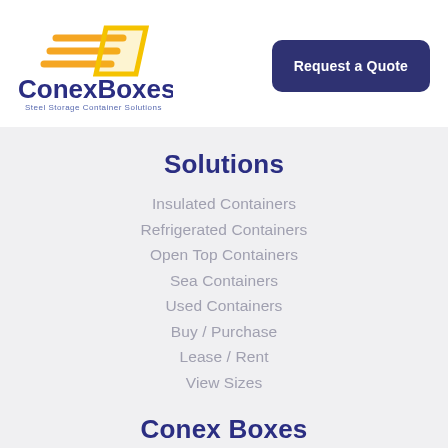[Figure (logo): ConexBoxes logo with orange/yellow arrow graphic and text 'ConexBoxes Steel Storage Container Solutions']
Request a Quote
Solutions
Insulated Containers
Refrigerated Containers
Open Top Containers
Sea Containers
Used Containers
Buy / Purchase
Lease / Rent
View Sizes
Conex Boxes